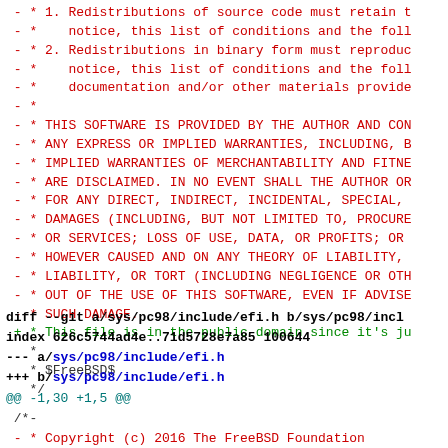Diff code block showing removal of BSD license and addition of public domain notice, followed by a new diff header for sys/pc98/include/efi.h
diff --git a/sys/pc98/include/efi.h b/sys/pc98/incl
index 626c5744ad4e..71d5728e7a85 100644
--- a/sys/pc98/include/efi.h
+++ b/sys/pc98/include/efi.h
@@ -1,30 +1,5 @@
 /*-
- * Copyright (c) 2016 The FreeBSD Foundation
- * All rights reserved.